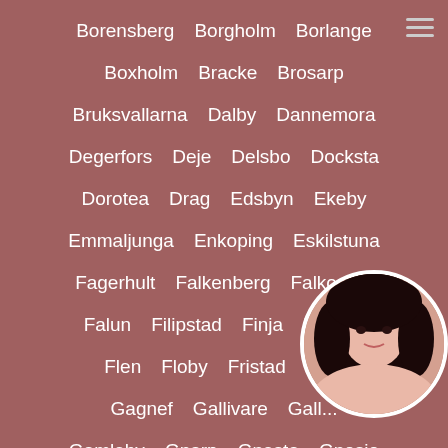Borensberg
Borgholm
Borlange
Boxholm
Bracke
Brosarp
Bruksvallarna
Dalby
Dannemora
Degerfors
Deje
Delsbo
Docksta
Dorotea
Drag
Edsbyn
Ekeby
Emmaljunga
Enkoping
Eskilstuna
Fagerhult
Falkenberg
Falkoping
Falun
Filipstad
Finja
Fiske
Flen
Floby
Fristad
Fu...
Gagnef
Gallivare
Gall...
Gamleby
Gnarp
Gnesta
Gnosjo